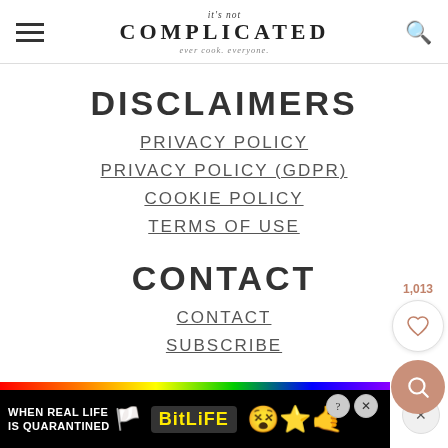it's not COMPLICATED — ever cook. everyone.
DISCLAIMERS
PRIVACY POLICY
PRIVACY POLICY (GDPR)
COOKIE POLICY
TERMS OF USE
CONTACT
CONTACT
SUBSCRIBE
[Figure (infographic): Advertisement banner: BitLife game ad with rainbow colors, text 'WHEN REAL LIFE IS QUARANTINED', emoji icons]
[Figure (infographic): Floating social buttons: heart/like button with count 1,013 and a search/magnifier button in salmon color]